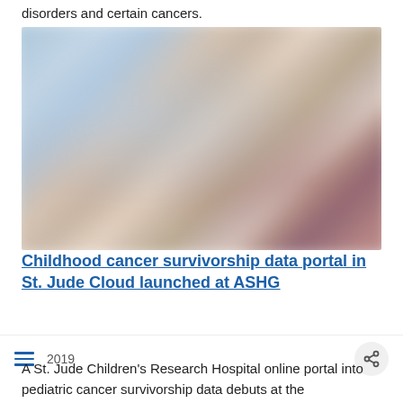disorders and certain cancers.
[Figure (photo): Blurred photo showing people in a medical or clinical setting, with warm and cool tones suggesting an indoor scene with multiple individuals.]
Childhood cancer survivorship data portal in St. Jude Cloud launched at ASHG
2019
A St. Jude Children's Research Hospital online portal into pediatric cancer survivorship data debuts at the